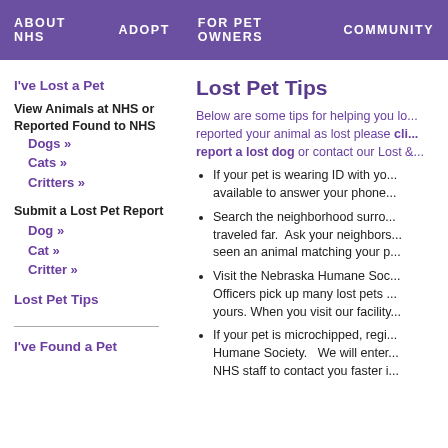ABOUT NHS   ADOPT   FOR PET OWNERS   COMMUNITY
I've Lost a Pet
View Animals at NHS or Reported Found to NHS
Dogs »
Cats »
Critters »
Submit a Lost Pet Report
Dog »
Cat »
Critter »
Lost Pet Tips
I've Found a Pet
Lost Pet Tips
Below are some tips for helping you lo... reported your animal as lost please cli... report a lost dog or contact our Lost &...
If your pet is wearing ID with yo... available to answer your phone...
Search the neighborhood surro... traveled far.  Ask your neighbors... seen an animal matching your p...
Visit the Nebraska Humane Soc... Officers pick up many lost pets ... yours. When you visit our facility...
If your pet is microchipped, regi... Humane Society.   We will enter... NHS staff to contact you faster i...